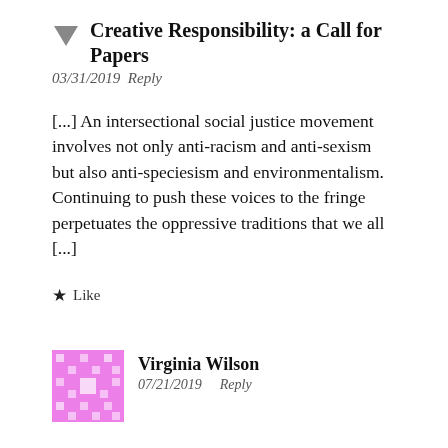Creative Responsibility: a Call for Papers
03/31/2019 Reply
[...] An intersectional social justice movement involves not only anti-racism and anti-sexism but also anti-speciesism and environmentalism. Continuing to push these voices to the fringe perpetuates the oppressive traditions that we all [...]
★ Like
Virginia Wilson
07/21/2019    Reply